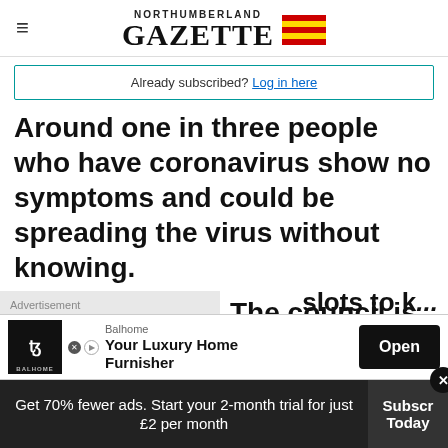NORTHUMBERLAND GAZETTE
Already subscribed? Log in here
Around one in three people who have coronavirus show no symptoms and could be spreading the virus without knowing.
The council is now offering
[Figure (screenshot): Balhome advertisement banner: 'Your Luxury Home Furnisher' with Open button]
slots to k...
Get 70% fewer ads. Start your 2-month trial for just £2 per month
Subscribe Today